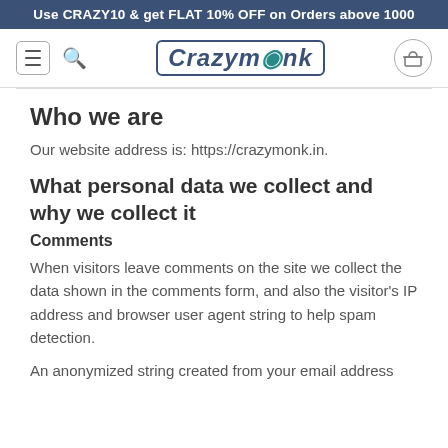Use CRAZY10 & get FLAT 10% OFF on Orders above 1000
[Figure (logo): Crazymonk logo with hamburger menu, search icon, and cart icon in navigation bar]
Who we are
Our website address is: https://crazymonk.in.
What personal data we collect and why we collect it
Comments
When visitors leave comments on the site we collect the data shown in the comments form, and also the visitor's IP address and browser user agent string to help spam detection.
An anonymized string created from your email address